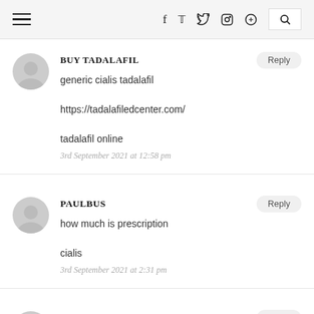Navigation header with hamburger menu, social icons (f, twitter, instagram, pinterest), and search
BUY TADALAFIL
generic cialis tadalafil
https://tadalafiledcenter.com/
tadalafil online
3rd September 2021 at 12:58 pm
PAULBUS
how much is prescription
cialis
3rd September 2021 at 2:31 pm
CATE
Thanks-a-mundo for the